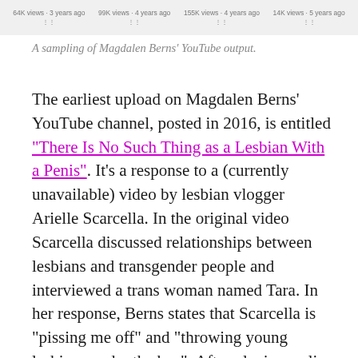[Figure (screenshot): A strip showing thumbnails of Magdalen Berns YouTube videos with view counts and upload times]
A sampling of Magdalen Berns' YouTube output.
The earliest upload on Magdalen Berns' YouTube channel, posted in 2016, is entitled “There Is No Such Thing as a Lesbian With a Penis”. It’s a response to a (currently unavailable) video by lesbian vlogger Arielle Scarcella. In the original video Scarcella discussed relationships between lesbians and transgender people and interviewed a trans woman named Tara. In her response, Berns states that Scarcella is “pissing me off” and “throwing young lesbians under the bus”. After playing a clip in which Tara mentions having sex with lesbians, Berns suggests that Tara is a